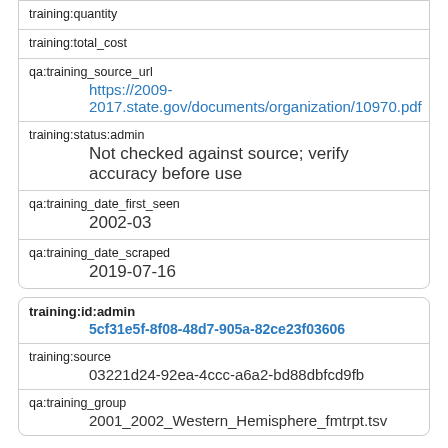training:quantity
training:total_cost
qa:training_source_url
https://2009-2017.state.gov/documents/organization/10970.pdf
training:status:admin
Not checked against source; verify accuracy before use
qa:training_date_first_seen
2002-03
qa:training_date_scraped
2019-07-16
training:id:admin
5cf31e5f-8f08-48d7-905a-82ce23f03606
training:source
03221d24-92ea-4ccc-a6a2-bd88dbfcd9fb
qa:training_group
2001_2002_Western_Hemisphere_fmtrpt.tsv